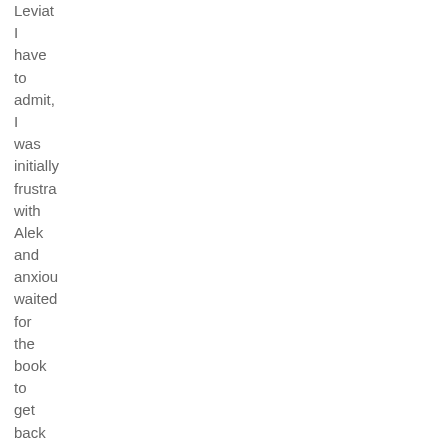Leviat
I
have
to
admit,
I
was
initially
frustra
with
Alek
and
anxiou
waited
for
the
book
to
get
back
to
Deryn
chapte